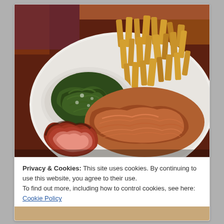[Figure (photo): A plate of BBQ food including pulled pork, sliced smoked meat, French fries/wedges, and a side bowl of cooked greens (collard greens), served on a white plate on a wooden table.]
Privacy & Cookies: This site uses cookies. By continuing to use this website, you agree to their use.
To find out more, including how to control cookies, see here: Cookie Policy
Close and accept